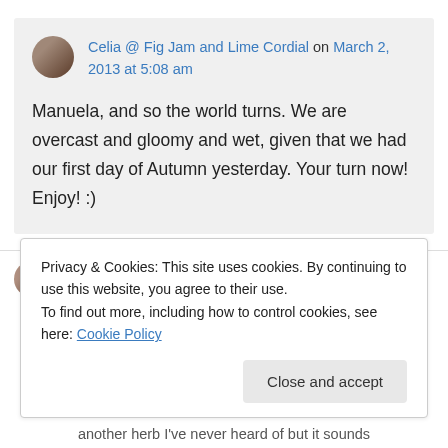Celia @ Fig Jam and Lime Cordial on March 2, 2013 at 5:08 am

Manuela, and so the world turns. We are overcast and gloomy and wet, given that we had our first day of Autumn yesterday. Your turn now! Enjoy! :)
Privacy & Cookies: This site uses cookies. By continuing to use this website, you agree to their use.
To find out more, including how to control cookies, see here: Cookie Policy
Close and accept
another herb I've never heard of but it sounds